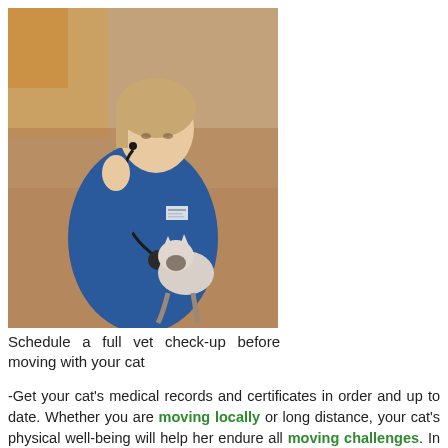[Figure (photo): A female veterinarian in blue scrubs holding a cat with a stethoscope, examining it. The vet has blonde hair pulled back and is wearing a name badge. The background is blurred with warm colors.]
Schedule a full vet check-up before moving with your cat
-Get your cat's medical records and certificates in order and up to date. Whether you are moving locally or long distance, your cat's physical well-being will help her endure all moving challenges. In the event of an interstate move, get your cat vaccinated according to local requirements.